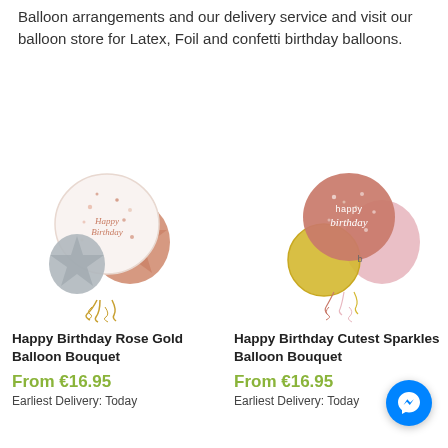Balloon arrangements and our delivery service and visit our balloon store for Latex, Foil and confetti birthday balloons.
[Figure (photo): Happy Birthday Rose Gold Balloon Bouquet – arrangement with white round Happy Birthday balloon, rose gold star balloon, and silver star balloon with gold ribbon curls.]
Happy Birthday Rose Gold Balloon Bouquet
From €16.95
Earliest Delivery: Today
[Figure (photo): Happy Birthday Cutest Sparkles Balloon Bouquet – arrangement with rose gold round happy birthday balloon, gold round balloon, pink round balloon, with ribbon curls.]
Happy Birthday Cutest Sparkles Balloon Bouquet
From €16.95
Earliest Delivery: Today